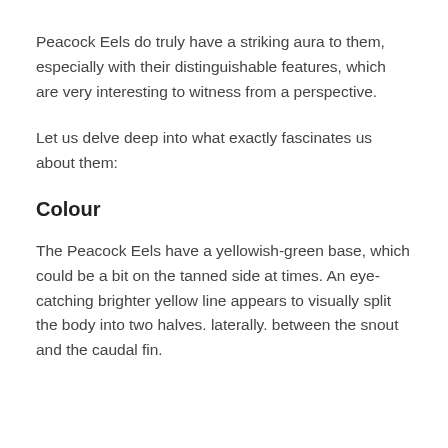Peacock Eels do truly have a striking aura to them, especially with their distinguishable features, which are very interesting to witness from a perspective.
Let us delve deep into what exactly fascinates us about them:
Colour
The Peacock Eels have a yellowish-green base, which could be a bit on the tanned side at times. An eye-catching brighter yellow line appears to visually split the body into two halves. laterally. between the snout and the caudal fin.